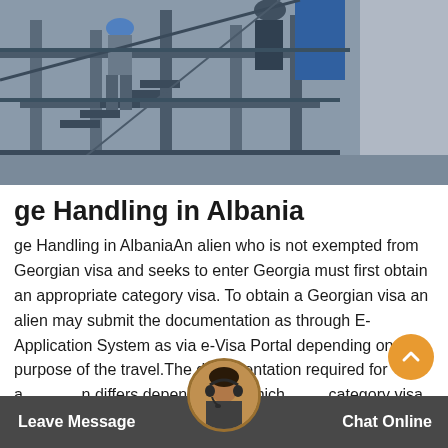[Figure (photo): Industrial scaffolding or staircase structure with workers in hard hats, metallic grey framework, outdoor setting]
ge Handling in Albania
ge Handling in AlbaniaAn alien who is not exempted from Georgian visa and seeks to enter Georgia must first obtain an appropriate category visa. To obtain a Georgian visa an alien may submit the documentation as through E-Application System as via e-Visa Portal depending on the purpose of the travel.The documentation required for a application differs depending on which category visa (and status of residence)
Leave Message   Chat Online